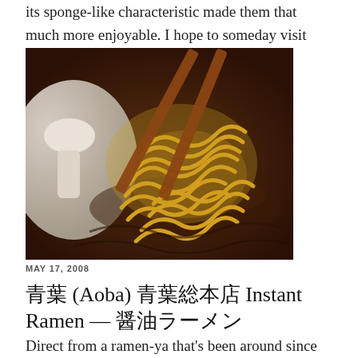its sponge-like characteristic made them that much more enjoyable. I hope to someday visit Oushou in person.
[Figure (photo): Close-up photo of yellow ramen noodles being lifted with chopsticks from a dark brown broth soup bowl, with a white ceramic spoon visible on the left side.]
MAY 17, 2008
青葉 (Aoba) 青葉総本店 Instant Ramen — 醤油ラーメン
Direct from a ramen-ya that's been around since 昭和時代